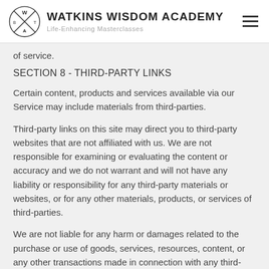WATKINS WISDOM ACADEMY
Life-Enhancing Masterclasses
of service.
SECTION 8 - THIRD-PARTY LINKS
Certain content, products and services available via our Service may include materials from third-parties.
Third-party links on this site may direct you to third-party websites that are not affiliated with us. We are not responsible for examining or evaluating the content or accuracy and we do not warrant and will not have any liability or responsibility for any third-party materials or websites, or for any other materials, products, or services of third-parties.
We are not liable for any harm or damages related to the purchase or use of goods, services, resources, content, or any other transactions made in connection with any third-party websites. Please